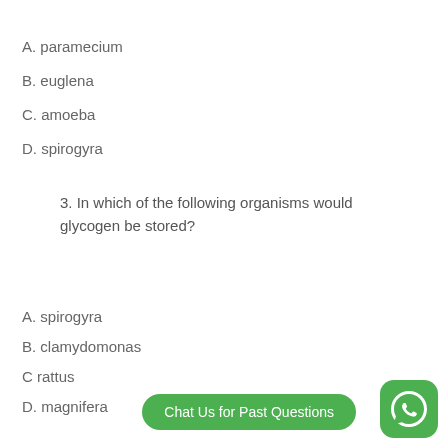A. paramecium
B. euglena
C. amoeba
D. spirogyra
3. In which of the following organisms would glycogen be stored?
A. spirogyra
B. clamydomonas
C rattus
D. magnifera